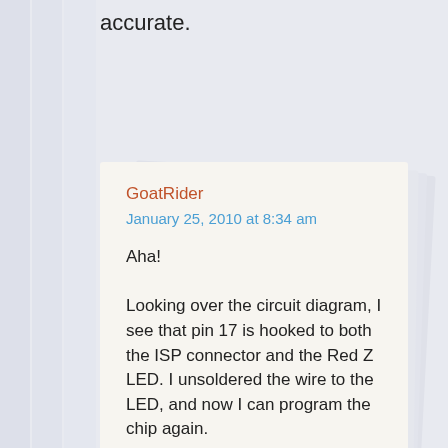accurate.
GoatRider
January 25, 2010 at 8:34 am

Aha!

Looking over the circuit diagram, I see that pin 17 is hooked to both the ISP connector and the Red Z LED. I unsoldered the wire to the LED, and now I can program the chip again.